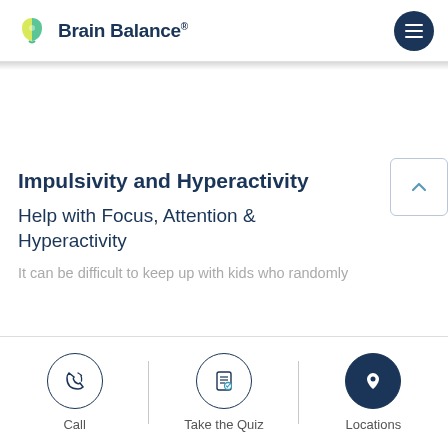Brain Balance
Impulsivity and Hyperactivity
Help with Focus, Attention & Hyperactivity
It can be difficult to keep up with kids who randomly
Call | Take the Quiz | Locations